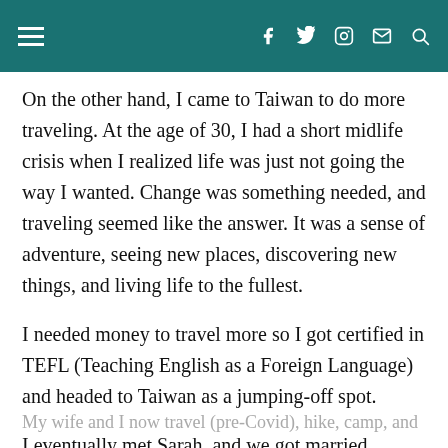≡   f  𝕏  ◎  ✉  🔍
On the other hand, I came to Taiwan to do more traveling. At the age of 30, I had a short midlife crisis when I realized life was just not going the way I wanted. Change was something needed, and traveling seemed like the answer. It was a sense of adventure, seeing new places, discovering new things, and living life to the fullest.
I needed money to travel more so I got certified in TEFL (Teaching English as a Foreign Language) and headed to Taiwan as a jumping-off spot.
I eventually met Sarah, and we got married [CLOSE]
My wife and I now travel (pre-Covid), hike, camp, and